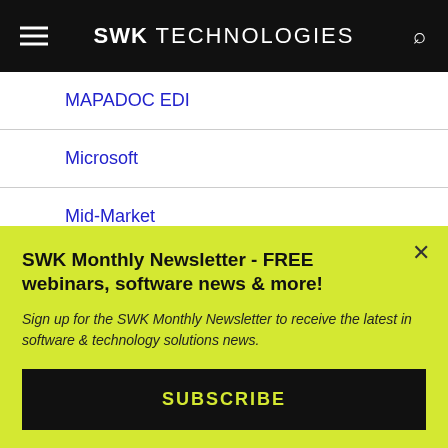SWK TECHNOLOGIES
MAPADOC EDI
Microsoft
Mid-Market
Network Services
SWK Monthly Newsletter - FREE webinars, software news & more!
Sign up for the SWK Monthly Newsletter to receive the latest in software & technology solutions news.
SUBSCRIBE